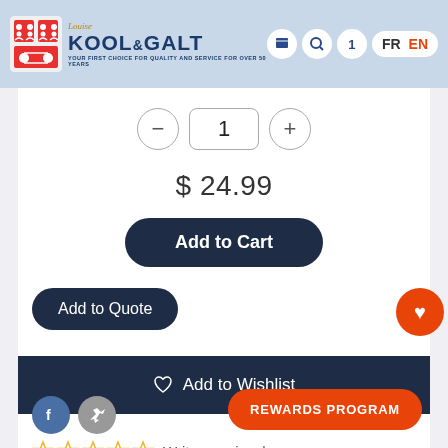[Figure (screenshot): Kool & Galt e-commerce website header with logo, navigation icons, and FR/EN language switcher]
1
$ 24.99
Add to Cart
Add to Quote
♡  Add to Wishlist
Write a review
REWARDS PROGRAM